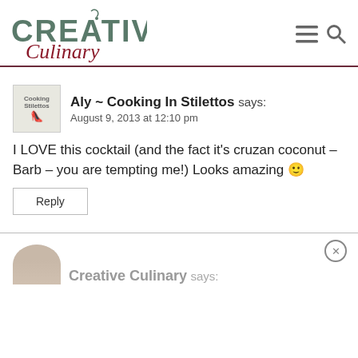Creative Culinary
Aly ~ Cooking In Stilettos says:
August 9, 2013 at 12:10 pm
I LOVE this cocktail (and the fact it’s cruzan coconut – Barb – you are tempting me!) Looks amazing 🙂
Reply
Creative Culinary says: